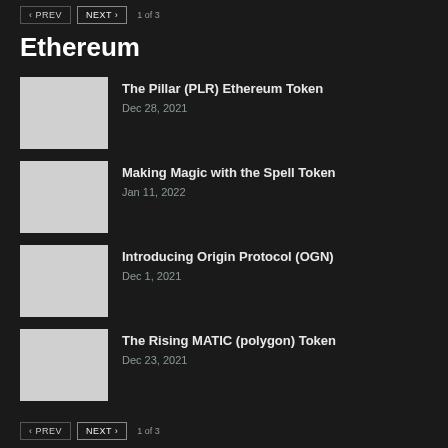‹ PREV   NEXT ›   1 of 3
Ethereum
The Pillar (PLR) Ethereum Token · Dec 28, 2021
Making Magic with the Spell Token · Jan 11, 2022
Introducing Origin Protocol (OGN) · Dec 1, 2021
The Rising MATIC (polygon) Token · Dec 23, 2021
‹ PREV   NEXT ›   1 of 3